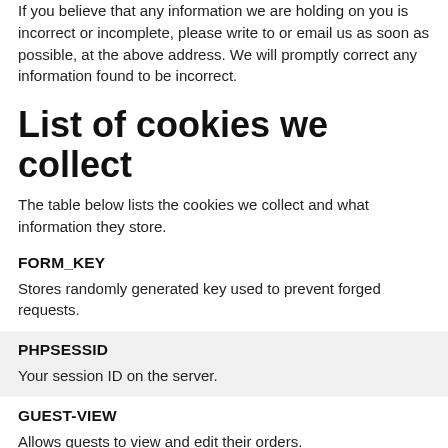If you believe that any information we are holding on you is incorrect or incomplete, please write to or email us as soon as possible, at the above address. We will promptly correct any information found to be incorrect.
List of cookies we collect
The table below lists the cookies we collect and what information they store.
FORM_KEY
Stores randomly generated key used to prevent forged requests.
PHPSESSID
Your session ID on the server.
GUEST-VIEW
Allows guests to view and edit their orders.
PERSISTENT_SHOPPING_CART
A link to information about your cart and viewing history, if you have asked for this.